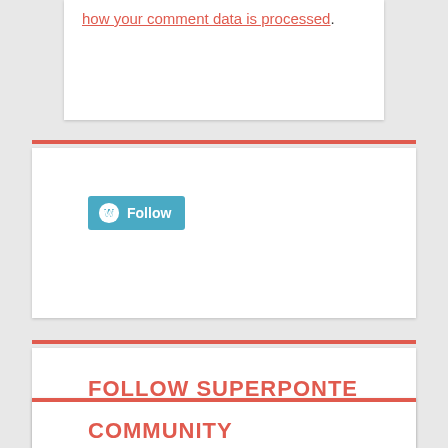how your comment data is processed.
[Figure (other): WordPress Follow button - teal/blue button with WordPress logo and 'Follow' text]
FOLLOW SUPERPONTE
COMMUNITY
[Figure (photo): Row of community member avatar images: dark church photo, pink quilt pattern, books/library, gold diamond pattern, blue bookshelf, woman portrait, young man portrait]